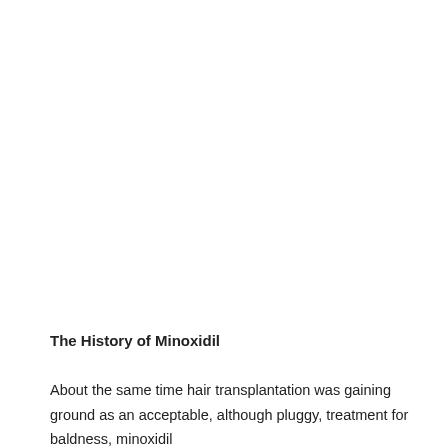The History of Minoxidil
About the same time hair transplantation was gaining ground as an acceptable, although pluggy, treatment for baldness, minoxidil